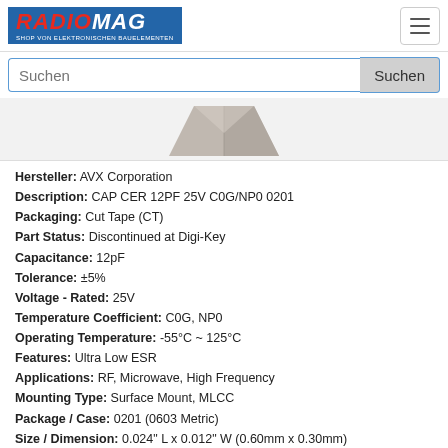RADIOMAG - SHOP VON ELEKTRONISCHEN BAUELEMENTEN
[Figure (screenshot): Radiomag logo with blue background, red RADIO and white MAG text, subtitle SHOP VON ELEKTRONISCHEN BAUELEMENTEN]
[Figure (photo): Product photo of a small ceramic capacitor component, gray/silver triangular shape on white background]
Hersteller: AVX Corporation
Description: CAP CER 12PF 25V C0G/NP0 0201
Packaging: Cut Tape (CT)
Part Status: Discontinued at Digi-Key
Capacitance: 12pF
Tolerance: ±5%
Voltage - Rated: 25V
Temperature Coefficient: C0G, NP0
Operating Temperature: -55°C ~ 125°C
Features: Ultra Low ESR
Applications: RF, Microwave, High Frequency
Mounting Type: Surface Mount, MLCC
Package / Case: 0201 (0603 Metric)
Size / Dimension: 0.024" L x 0.012" W (0.60mm x 0.30mm)
Thickness (Max): 0.013" (0.33mm)
auf Bestellung 2395 Stücke 🚚
Lieferzeit 21-28 Tag (e)